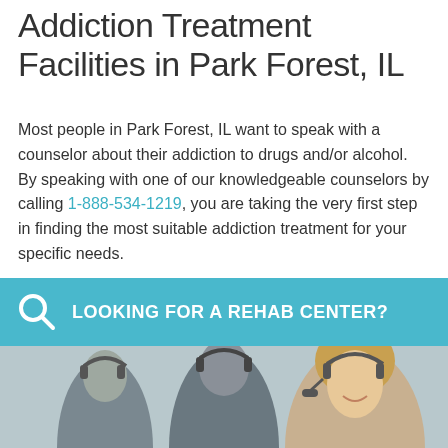Addiction Treatment Facilities in Park Forest, IL
Most people in Park Forest, IL want to speak with a counselor about their addiction to drugs and/or alcohol. By speaking with one of our knowledgeable counselors by calling 1-888-534-1219, you are taking the very first step in finding the most suitable addiction treatment for your specific needs.
Park Forest has 1 Alcohol and Drug Rehab(s) listed below.
[Figure (infographic): Teal banner with search icon and text 'LOOKING FOR A REHAB CENTER?' above a photo of three call center workers wearing headsets]